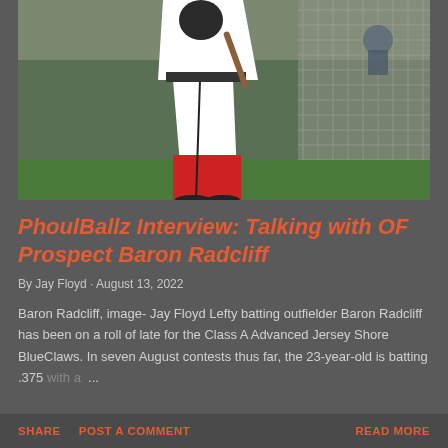[Figure (photo): Baseball player in white uniform with red leggings batting or in stance at a baseball field, viewed from behind/side, with batting cage netting visible in background]
PhoulBallz Interview: Talking with OF Prospect Baron Radcliff
By Jay Floyd · August 13, 2022
Baron Radcliff, image- Jay Floyd Lefty batting outfielder Baron Radcliff has been on a roll of late for the Class A Advanced Jersey Shore BlueClaws. In seven August contests thus far, the 23-year-old is batting .375 with a …
SHARE   POST A COMMENT   READ MORE